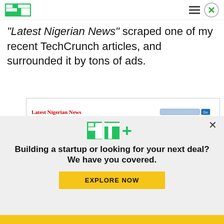TechCrunch navigation bar with TC logo, hamburger menu, and close button
"Latest Nigerian News" scraped one of my recent TechCrunch articles, and surrounded it by tons of ads.
[Figure (screenshot): Screenshot of 'Latest Nigerian News' website showing navigation bar, holiday advertisement banner, and a headline 'Facebook mistakenly deleted some people's Live videos']
[Figure (infographic): TC+ promotional overlay with TechCrunch Plus logo, headline 'Building a startup or looking for your next deal? We have you covered.' and yellow EXPLORE NOW button]